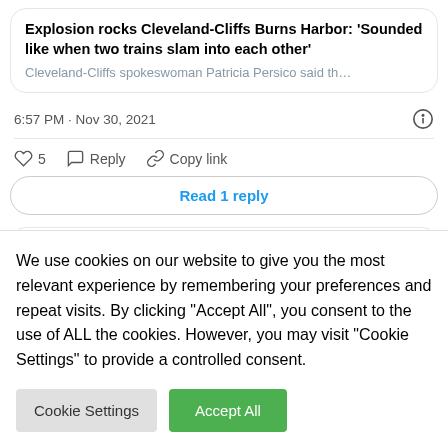Explosion rocks Cleveland-Cliffs Burns Harbor: 'Sounded like when two trains slam into each other'
Cleveland-Cliffs spokeswoman Patricia Persico said th...
6:57 PM · Nov 30, 2021
5  Reply  Copy link
Read 1 reply
Mike Lorber · Nov 30, 2021  @NBCShE · Follow
We use cookies on our website to give you the most relevant experience by remembering your preferences and repeat visits. By clicking "Accept All", you consent to the use of ALL the cookies. However, you may visit "Cookie Settings" to provide a controlled consent.